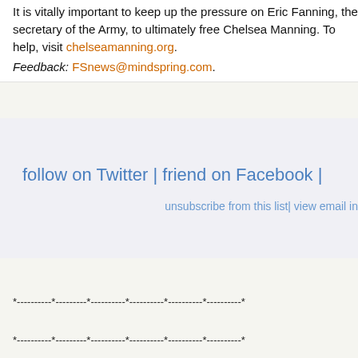It is vitally important to keep up the pressure on Eric Fanning, the secretary of the Army, to ultimately free Chelsea Manning. To help, visit chelseamanning.org.
Feedback: FSnews@mindspring.com.
follow on Twitter | friend on Facebook |
unsubscribe from this list| view email in
*----------*---------*----------*----------*----------*----------*
*----------*---------*----------*----------*----------*----------*